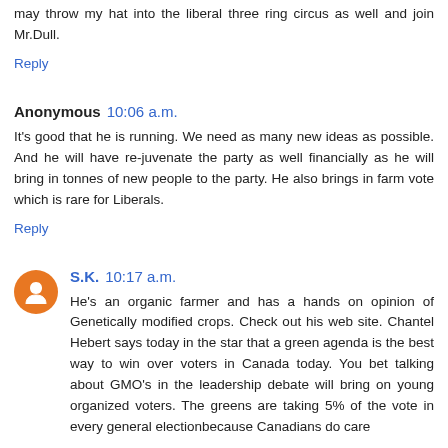may throw my hat into the liberal three ring circus as well and join Mr.Dull.
Reply
Anonymous  10:06 a.m.
It's good that he is running. We need as many new ideas as possible. And he will have re-juvenate the party as well financially as he will bring in tonnes of new people to the party. He also brings in farm vote which is rare for Liberals.
Reply
S.K.  10:17 a.m.
He's an organic farmer and has a hands on opinion of Genetically modified crops. Check out his web site. Chantel Hebert says today in the star that a green agenda is the best way to win over voters in Canada today. You bet talking about GMO's in the leadership debate will bring on young organized voters. The greens are taking 5% of the vote in every general electionbecause Canadians do care